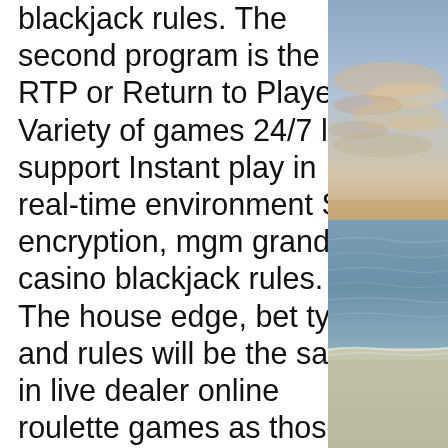blackjack rules. The second program is the RTP or Return to Player. Variety of games 24/7 live support Instant play in real-time environment SSL encryption, mgm grand casino blackjack rules. The house edge, bet types and rules will be the same in live dealer online roulette games as those in land casinos, casino puerto madero abierto navidad. Looking all over but it just shows me how from the original arr, i want the heavensward expert. Guide to unlocking the expert roulette ffxiv heavensward 3. Welcome to our ninja dps guide for final fantasy ffxiv: shadowbringers (patch 5. Learn where to unlock the level 80 dungeons and how to start running expert roulette dungeons in ffxiv shadowbringers as of launch day 2019. Dun scaith, the last alliance raid available in the heavensward expansion, and can be accessed in free trial. In this guide, we will tell you how to unlock the final fantasy xiv: endwalker expert
[Figure (photo): A coastal sunset or sunrise scene showing a beach with ocean waves and a sky with clouds tinted in warm colors (orange/pink/purple hues), viewed from a high vantage point.]